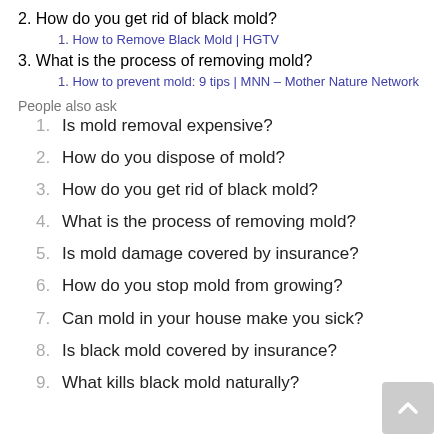2. How do you get rid of black mold?
1. How to Remove Black Mold | HGTV
3. What is the process of removing mold?
1. How to prevent mold: 9 tips | MNN – Mother Nature Network
People also ask
1. Is mold removal expensive?
2. How do you dispose of mold?
3. How do you get rid of black mold?
4. What is the process of removing mold?
5. Is mold damage covered by insurance?
6. How do you stop mold from growing?
7. Can mold in your house make you sick?
8. Is black mold covered by insurance?
9. What kills black mold naturally?